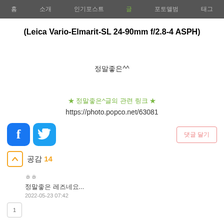홈  소개  인기포스트  글  포토앨범  태그
(Leica Vario-Elmarit-SL 24-90mm f/2.8-4 ASPH)
정말좋은^^
★ 정말좋은^글의 관련 링크 ★
https://photo.popco.net/63081
[Figure (logo): Facebook and Twitter share icons]
댓글 달기
공감 14
ㅎㅎ
정말좋은 레즈네요...
2022-05-23 07:42
1